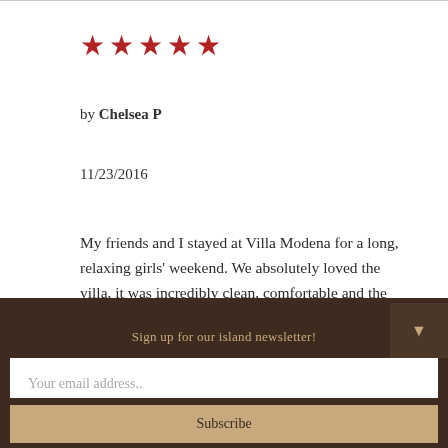[Figure (other): Five red star rating icons]
by Chelsea P
11/23/2016
My friends and I stayed at Villa Modena for a long, relaxing girls' weekend. We absolutely loved the villa, it was incredibly clean, comfortable and the view is stunning.
Sign up for our island newsletter!
Your email address..
Subscribe